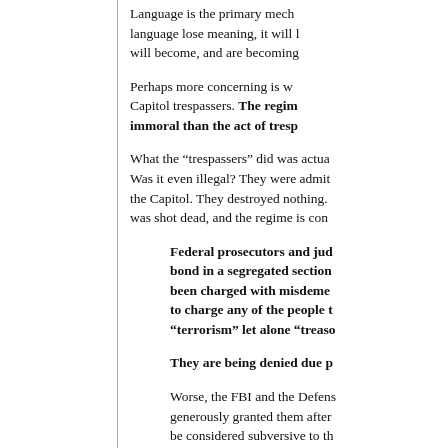Language is the primary mech language lose meaning, it will will become, and are becoming
Perhaps more concerning is w Capitol trespassers. The regime immoral than the act of tresp
What the “trespassers” did was actua Was it even illegal? They were admit the Capitol. They destroyed nothing. was shot dead, and the regime is con
Federal prosecutors and jud bond in a segregated section been charged with misdeme to charge any of the people “terrorism” let alone “treaso
They are being denied due p
Worse, the FBI and the Defens generously granted them after be considered subversive to th January 6 as a pretext to lau citizen who doesn’t obey